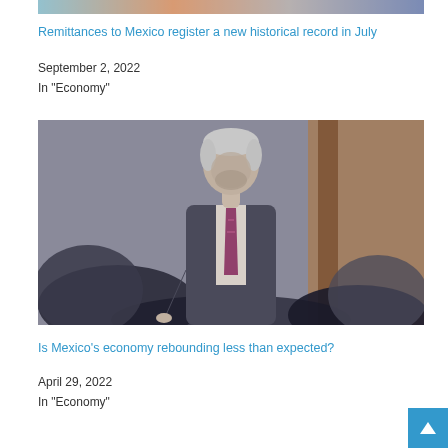[Figure (photo): Partial top image strip showing colorful background, cropped at top of page]
Remittances to Mexico register a new historical record in July
September 2, 2022
In "Economy"
[Figure (photo): A gray-haired man in a dark suit walking, viewed from front, surrounded by crowd, in a formal setting]
Is Mexico's economy rebounding less than expected?
April 29, 2022
In "Economy"